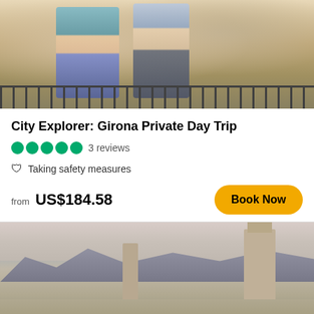[Figure (photo): Two people standing on a railing/bridge walkway, outdoor urban scene]
City Explorer: Girona Private Day Trip
●●●●● 3 reviews
🛡 Taking safety measures
from US$184.58
[Figure (photo): Aerial/panoramic view of Girona city with cathedral towers and historic buildings]